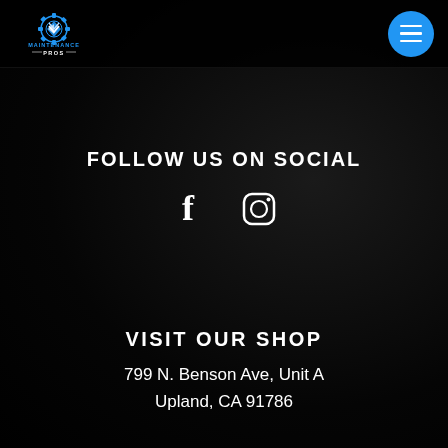[Figure (logo): Maintenance Pros gear/shield logo with blue and white chevron design, text MAINTENANCE PROS below]
[Figure (other): Blue circular hamburger menu button with three white horizontal lines]
FOLLOW US ON SOCIAL
[Figure (other): Facebook and Instagram social media icons in white]
VISIT OUR SHOP
799 N. Benson Ave, Unit A
Upland, CA 91786